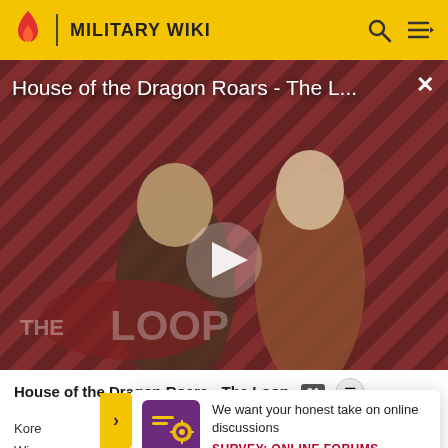MILITARY WIKI
[Figure (screenshot): Video player showing House of the Dragon Roars - The Loop episode, with two characters visible and THE LOOP logo overlay, diagonal stripe background pattern, play button in center]
House of the Dragon Roars - The Loop
We want your honest take on online discussions
SURVEY: ONLINE FORUMS
Kore... Wing... feder...